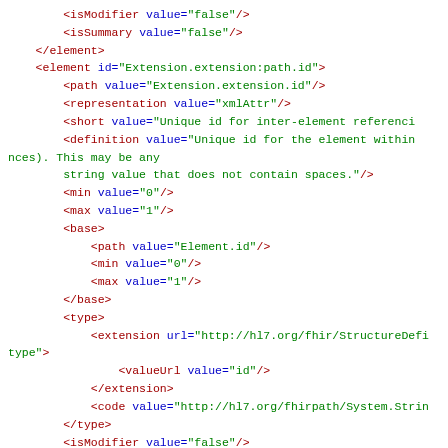XML/FHIR StructureDefinition code snippet showing element definitions including isModifier, isSummary, element id, path, representation, short, definition, min, max, base, type, extension, valueUrl, code elements